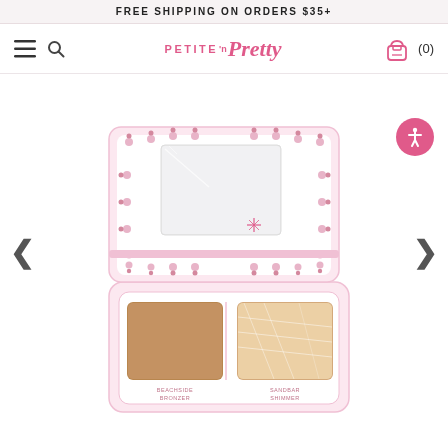FREE SHIPPING ON ORDERS $35+
[Figure (logo): Petite 'n Pretty logo in pink cursive with navigation icons: hamburger menu, search icon, backpack cart icon with (0) count]
[Figure (photo): Open makeup palette compact with pink case, featuring a mirror with decorative flower pins on the inside lid, and two powder pans: a matte bronzer labeled BEACHSIDE BRONZER and a shimmer highlighter labeled SANDBAR SHIMMER]